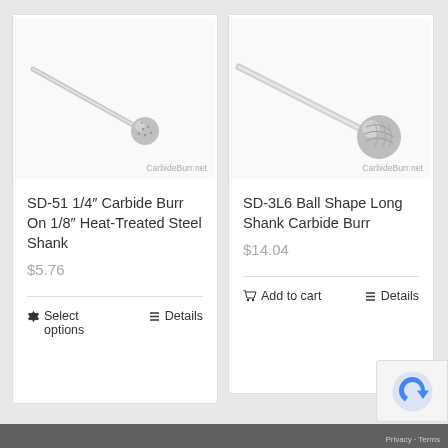[Figure (photo): Photo of SD-51 carbide burr with small ball tip on long thin shank, diagonal orientation, on white background. Watermark: CarbideBurr.net]
SD-51 1/4″ Carbide Burr On 1/8″ Heat-Treated Steel Shank
$5.76
⚙ Select options
≡ Details
[Figure (photo): Photo of SD-3L6 ball shape long shank carbide burr with larger ball tip, diagonal orientation, on white background. Watermark: CarbideBurr.net]
SD-3L6 Ball Shape Long Shank Carbide Burr
$14.04
🛒 Add to cart
≡ Details
Privacy · Terms